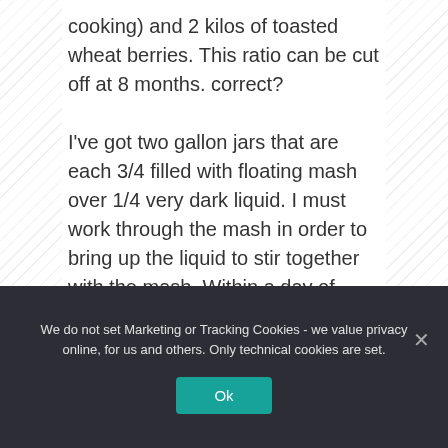cooking) and 2 kilos of toasted wheat berries. This ratio can be cut off at 8 months. correct?

I've got two gallon jars that are each 3/4 filled with floating mash over 1/4 very dark liquid. I must work through the mash in order to bring up the liquid to stir together with the mash. Within a day of mixing the components have again separated. I believe that I still have some fermentation going on as after a few days the solids at
We do not set Marketing or Tracking Cookies - we value privacy online, for us and others. Only technical cookies are set.